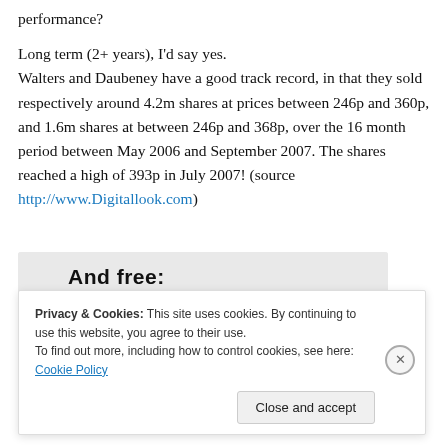performance?
Long term (2+ years), I'd say yes. Walters and Daubeney have a good track record, in that they sold respectively around 4.2m shares at prices between 246p and 360p, and 1.6m shares at between 246p and 368p, over the 16 month period between May 2006 and September 2007. The shares reached a high of 393p in July 2007! (source http://www.Digitallook.com)
[Figure (screenshot): Partial screenshot of a webpage showing 'And free:' title and a row of circular avatar profile images below it.]
Privacy & Cookies: This site uses cookies. By continuing to use this website, you agree to their use. To find out more, including how to control cookies, see here: Cookie Policy